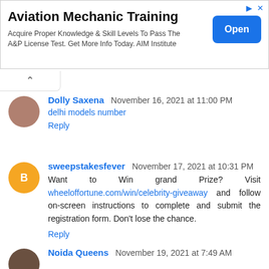[Figure (other): Advertisement banner for Aviation Mechanic Training]
Aviation Mechanic Training
Acquire Proper Knowledge & Skill Levels To Pass The A&P License Test. Get More Info Today. AIM Institute
Open
Dolly Saxena November 16, 2021 at 11:00 PM
delhi models number
Reply
sweepstakesfever November 17, 2021 at 10:31 PM
Want to Win grand Prize? Visit wheeloffortune.com/win/celebrity-giveaway and follow on-screen instructions to complete and submit the registration form. Don't lose the chance.
Reply
Noida Queens November 19, 2021 at 7:49 AM